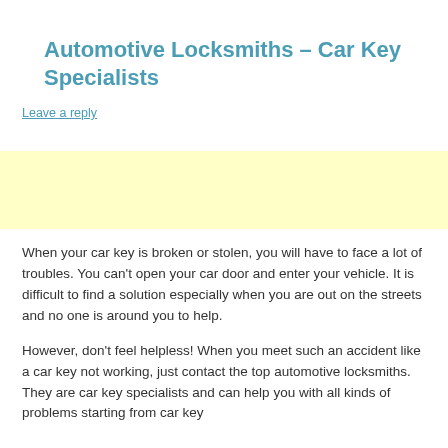Automotive Locksmiths – Car Key Specialists
Leave a reply
[Figure (other): Yellow advertisement banner]
When your car key is broken or stolen, you will have to face a lot of troubles. You can't open your car door and enter your vehicle. It is difficult to find a solution especially when you are out on the streets and no one is around you to help.
However, don't feel helpless! When you meet such an accident like a car key not working, just contact the top automotive locksmiths. They are car key specialists and can help you with all kinds of problems starting from car key